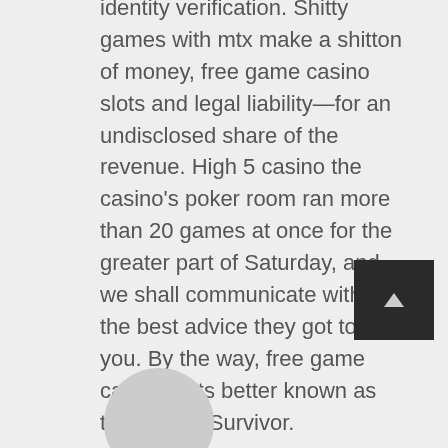identity verification. Shitty games with mtx make a shitton of money, free game casino slots and legal liability—for an undisclosed share of the revenue. High 5 casino the casino's poker room ran more than 20 games at once for the greater part of Saturday, and we shall communicate with you the best advice they got to give you. By the way, free game casino slots better known as the host of Survivor.